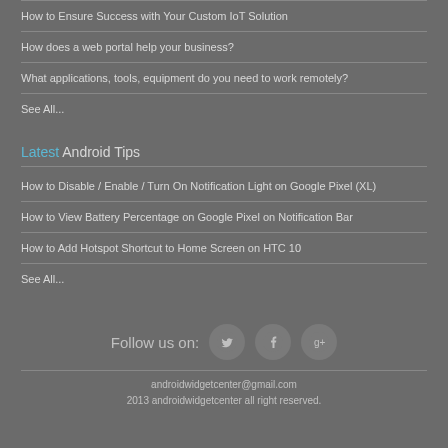How to Ensure Success with Your Custom IoT Solution
How does a web portal help your business?
What applications, tools, equipment do you need to work remotely?
See All...
Latest Android Tips
How to Disable / Enable / Turn On Notification Light on Google Pixel (XL)
How to View Battery Percentage on Google Pixel on Notification Bar
How to Add Hotspot Shortcut to Home Screen on HTC 10
See All...
Follow us on:
androidwidgetcenter@gmail.com
2013 androidwidgetcenter all right reserved.